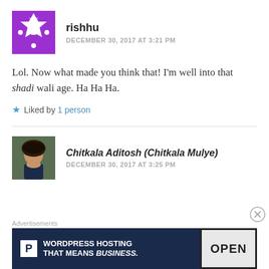[Figure (illustration): Purple avatar with white diamond/cross pattern for user rishhu]
rishhu
DECEMBER 30, 2017 AT 3:21 PM
Lol. Now what made you think that! I'm well into that shadi wali age. Ha Ha Ha.
Liked by 1 person
[Figure (photo): Profile photo of Chitkala Aditosh (Chitkala Mulye), a woman with curly hair wearing dark clothing]
Chitkala Aditosh (Chitkala Mulye)
DECEMBER 30, 2017 AT 3:25 PM
Advertisements
[Figure (screenshot): WordPress Hosting That Means Business advertisement banner with OPEN sign]